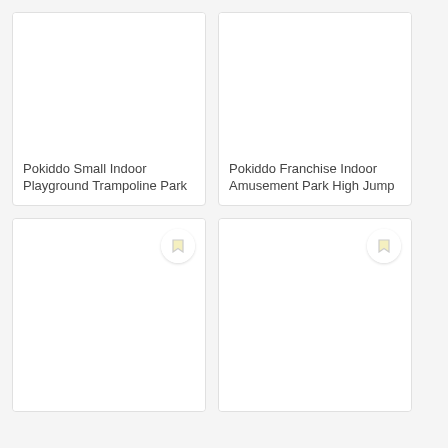[Figure (photo): Top-left product card image area (blank/white) for Pokiddo Small Indoor Playground Trampoline Park]
Pokiddo Small Indoor Playground Trampoline Park
[Figure (photo): Top-right product card image area (blank/white) for Pokiddo Franchise Indoor Amusement Park High Jump]
Pokiddo Franchise Indoor Amusement Park High Jump
[Figure (photo): Bottom-left product card image area (blank/white) with bookmark button]
[Figure (photo): Bottom-right product card image area (blank/white) with bookmark button]